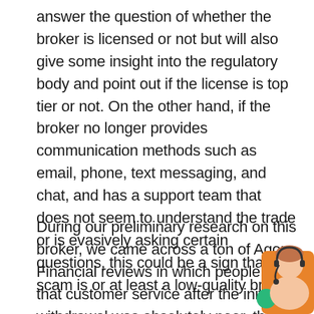answer the question of whether the broker is licensed or not but will also give some insight into the regulatory body and point out if the license is top tier or not. On the other hand, if the broker no longer provides communication methods such as email, phone, text messaging, and chat, and has a support team that does not seem to understand the trade or is evasively asking certain questions, this could be a sign that a scam is or at least a low-quality broker.
During our preliminary research on this broker, we came across a ton of Agora Financial reviews in which people said that customer service after the initial withdrawal was absolutely poor. these platforms would be good in the hands o...
[Figure (photo): Photo of a woman wearing a headset, appearing to be a customer service representative, positioned in the bottom-right corner of the page with an orange/teal background element.]